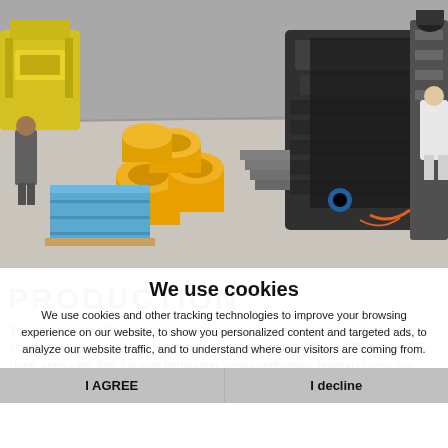[Figure (photo): Industrial factory floor with yellow plastic film rolls, blue wrapped pallet, and large black multilayer film extrusion/printing machinery]
We use cookies
We use cookies and other tracking technologies to improve your browsing experience on our website, to show you personalized content and targeted ads, to analyze our website traffic, and to understand where our visitors are coming from.
The main activity of the company is the production of clean and printed three-layer coextruded film and single-layer extruded film made from LDPE, LLDPE and MDPE (tube, semi-tube, film, full-area perforation, partial perforation, printing of recycling
I AGREE
I decline